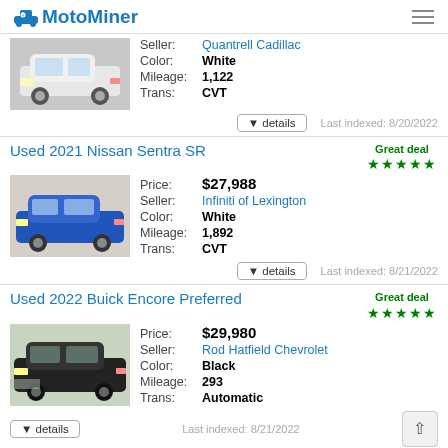MotoMiner
Seller: Quantrell Cadillac | Color: White | Mileage: 1,122 | Trans: CVT | Last indexed: 8/20/2022
Used 2021 Nissan Sentra SR
Great deal ★★★★★
[Figure (photo): Blue Nissan Sentra SR sedan]
Price: $27,988 | Seller: Infiniti of Lexington | Color: White | Mileage: 1,892 | Trans: CVT | Last indexed: 8/21/2022
Used 2022 Buick Encore Preferred
Great deal ★★★★★
[Figure (photo): Black Buick Encore Preferred SUV]
Price: $29,980 | Seller: Rod Hatfield Chevrolet | Color: Black | Mileage: 293 | Trans: Automatic | Last indexed: 8/21/2022